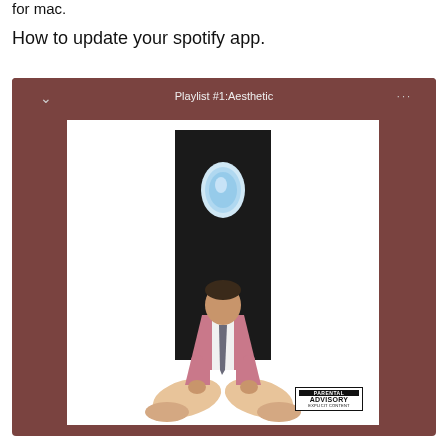for mac.
How to update your spotify app.
[Figure (screenshot): Screenshot of Spotify app on Mac showing a playlist named 'Playlist #1:Aesthetic' with album art of a man in a pink suit sitting cross-legged in a dark vertical space with a plane window above him. A Parental Advisory Explicit Content label is visible in the bottom right of the album art.]